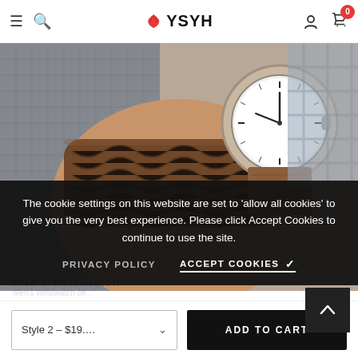YSYH — navigation header with hamburger menu, search, logo, user icon, cart (0)
[Figure (photo): Close-up photo of a man's wrist wearing a minimalist white-face wristwatch with brown leather strap and a braided brown leather wrap bracelet, on textured background]
The cookie settings on this website are set to 'allow all cookies' to give you the very best experience. Please click Accept Cookies to continue to use the site.
PRIVACY POLICY    ACCEPT COOKIES ✓
Men's Wristwatch...
Style 2 – $19....    ADD TO CART